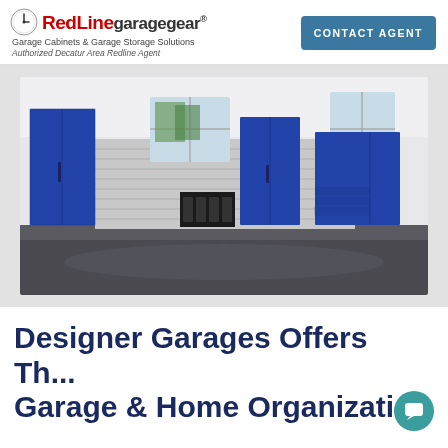[Figure (logo): RedLine Garage Gear logo with clock icon, red and black text, subtitle 'Garage Cabinets & Garage Storage Solutions', tagline 'Authorized Decatur Area Redline Agent']
CONTACT AGENT
[Figure (photo): Interior photo of a garage with blue cabinets and storage units against a white slatwall, dark polished concrete floor, two windows]
Designer Garages Offers Th... Garage & Home Organizati...